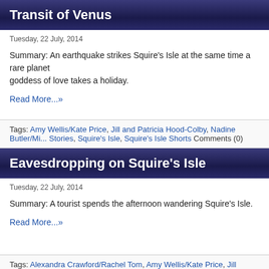Transit of Venus
Tuesday, 22 July, 2014
Summary: An earthquake strikes Squire's Isle at the same time a rare planet... goddess of love takes a holiday.
Read More...»
Tags: Amy Wellis/Kate Price, Jill and Patricia Hood-Colby, Nadine Butler/Mi... Stories, Squire's Isle, Squire's Isle Shorts Comments (0)
Eavesdropping on Squire's Isle
Tuesday, 22 July, 2014
Summary: A tourist spends the afternoon wandering Squire's Isle.
Read More...»
Tags: Alexandra Crawford/Rachel Tom, Amy Wellis/Kate Price, Jill Colby/Pa...